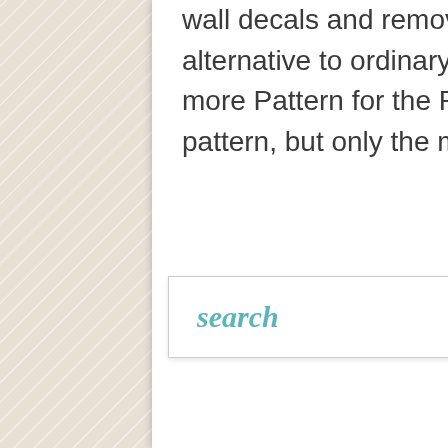wall decals and removable wallpaper are the artful alternative to ordinary walls with a goal of providing more Pattern for the People™. And not just any pattern, but only the most delightfully ...
search